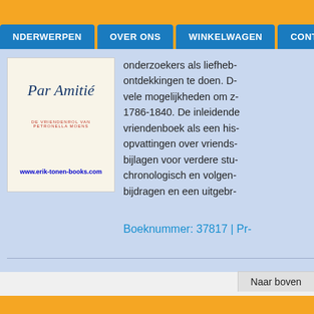NDERWERPEN | OVER ONS | WINKELWAGEN | CONTACT
[Figure (illustration): Book cover for 'Par Amitié - De vriendenrol van Petronella Moens' with website www.erik-tonen-books.com]
onderzoekers als liefheb- ontdekkingen te doen. D- vele mogelijkheden om z- 1786-1840. De inleidende vriendenboek als een his- opvattingen over vriends- bijlagen voor verdere stu- chronologisch en volgen- bijdragen en een uitgebr-
Boeknummer: 37817 | Pr-
Naar boven